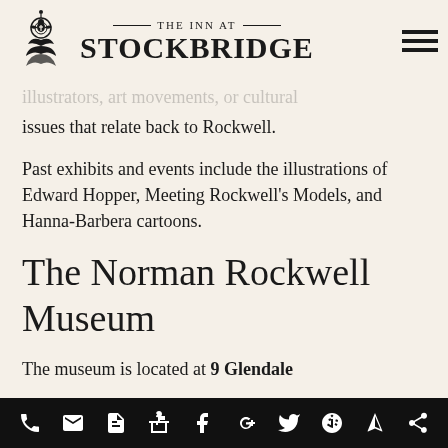[Figure (logo): The Inn at Stockbridge logo with decorative floral/bird icon on the left, text 'THE INN AT STOCKBRIDGE' in center, and hamburger menu icon on the right]
illustrators, art movements, or cultural issues that relate back to Rockwell.
Past exhibits and events include the illustrations of Edward Hopper, Meeting Rockwell's Models, and Hanna-Barbera cartoons.
The Norman Rockwell Museum
The museum is located at 9 Glendale
[Figure (infographic): Black bottom navigation bar with white social/contact icons: phone, email, document, gift, Facebook, Google+, Twitter, Yelp, navigation arrow, share]